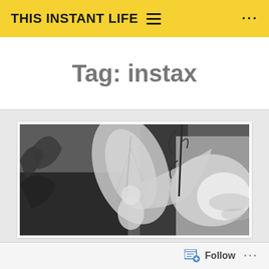THIS INSTANT LIFE
Tag: instax
[Figure (photo): Black and white photograph showing a fairy or pixie figurine with wings among foliage and plants, with a bright light or water reflection in the background. The photo has a white border as if taken on instant film.]
Follow